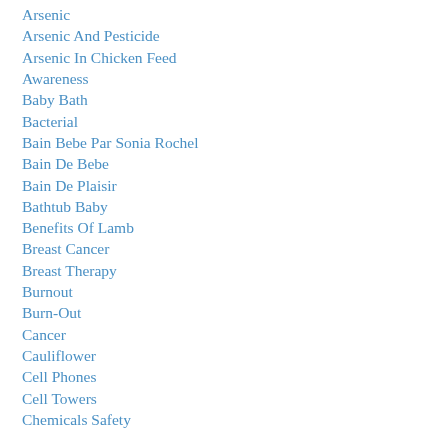Arsenic
Arsenic And Pesticide
Arsenic In Chicken Feed
Awareness
Baby Bath
Bacterial
Bain Bebe Par Sonia Rochel
Bain De Bebe
Bain De Plaisir
Bathtub Baby
Benefits Of Lamb
Breast Cancer
Breast Therapy
Burnout
Burn-Out
Cancer
Cauliflower
Cell Phones
Cell Towers
Chemicals Safety